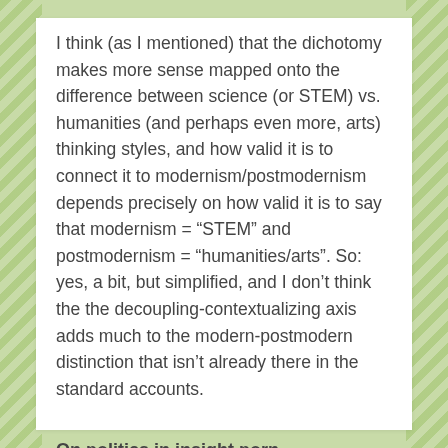I think (as I mentioned) that the dichotomy makes more sense mapped onto the difference between science (or STEM) vs. humanities (and perhaps even more, arts) thinking styles, and how valid it is to connect it to modernism/postmodernism depends precisely on how valid it is to say that modernism = “STEM” and postmodernism = “humanities/arts”. So: yes, a bit, but simplified, and I don’t think the the decoupling-contextualizing axis adds much to the modern-postmodern distinction that isn’t already there in the standard accounts.
On politics in insight porn